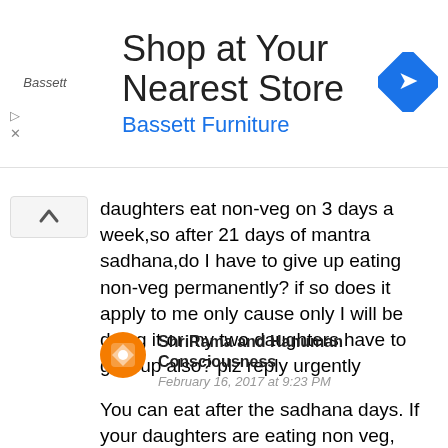[Figure (other): Bassett Furniture advertisement banner with logo, navigation icon, and blue direction arrow]
daughters eat non-veg on 3 days a week,so after 21 days of mantra sadhana,do I have to give up eating non-veg permanently? if so does it apply to me only cause only I will be doing it or my two daughters have to give up also? plz reply urgently
ShriRama and Hanuman Consciousness
February 16, 2017 at 9:23 PM

You can eat after the sadhana days. If your daughters are eating non veg, then you cannot eat home made food. Unless and until you are doing vaamchara sadhana. A house